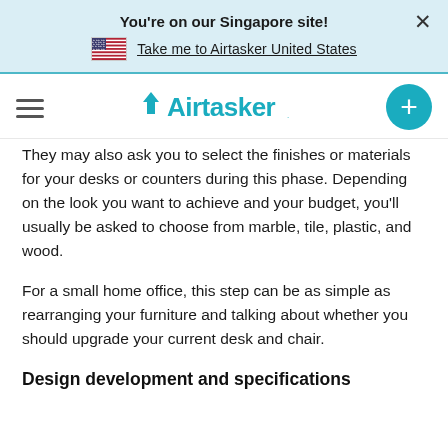You're on our Singapore site!
Take me to Airtasker United States
They may also ask you to select the finishes or materials for your desks or counters during this phase. Depending on the look you want to achieve and your budget, you'll usually be asked to choose from marble, tile, plastic, and wood.
For a small home office, this step can be as simple as rearranging your furniture and talking about whether you should upgrade your current desk and chair.
Design development and specifications